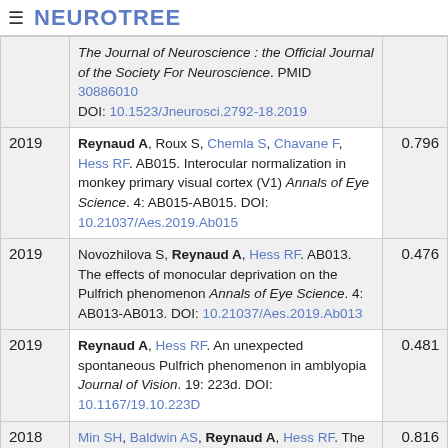≡ NEUROTREE
| Year | Reference | Score |
| --- | --- | --- |
|  | The Journal of Neuroscience : the Official Journal of the Society For Neuroscience. PMID 30886010 DOI: 10.1523/Jneurosci.2792-18.2019 |  |
| 2019 | Reynaud A, Roux S, Chemla S, Chavane F, Hess RF. AB015. Interocular normalization in monkey primary visual cortex (V1) Annals of Eye Science. 4: AB015-AB015. DOI: 10.21037/Aes.2019.Ab015 | 0.796 |
| 2019 | Novozhilova S, Reynaud A, Hess RF. AB013. The effects of monocular deprivation on the Pulfrich phenomenon Annals of Eye Science. 4: AB013-AB013. DOI: 10.21037/Aes.2019.Ab013 | 0.476 |
| 2019 | Reynaud A, Hess RF. An unexpected spontaneous Pulfrich phenomenon in amblyopia Journal of Vision. 19: 223d. DOI: 10.1167/19.10.223D | 0.481 |
| 2018 | Min SH, Baldwin AS, Reynaud A, Hess RF. The | 0.816 |